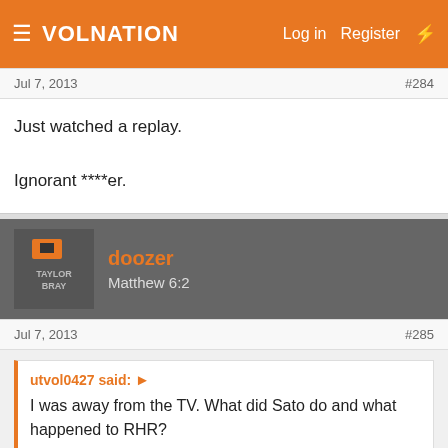VolNation — Log in  Register
Jul 7, 2013  #284
Just watched a replay.

Ignorant ****er.
doozer
Matthew 6:2
Jul 7, 2013  #285
utvol0427 said: I was away from the TV. What did Sato do and what happened to RHR?
Drove like a moron and took RHR out.